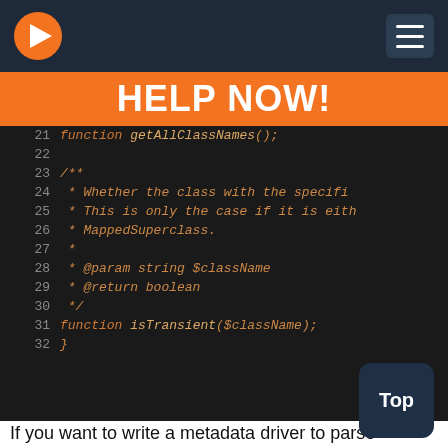[Figure (screenshot): Navigation bar with orange arrow logo on left and hamburger menu on right, dark navy background]
HELP NOW!
[Figure (screenshot): Code editor screenshot showing PHP interface code lines 21-32 with dark background, orange and tan monospace font. Lines show: function getAllClassNames(); /** * Whether the class with the specifi * This is only the case if it is eith * MappedSuperclass. * * @param string $className * @return boolean */ function isTransient($className); }]
If you want to write a metadata driver to parse information from some file format we've made your life a